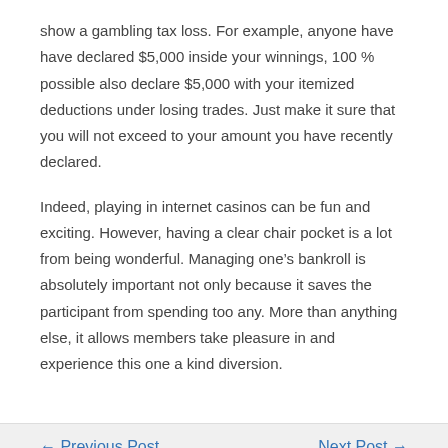show a gambling tax loss. For example, anyone have have declared $5,000 inside your winnings, 100 % possible also declare $5,000 with your itemized deductions under losing trades. Just make it sure that you will not exceed to your amount you have recently declared.
Indeed, playing in internet casinos can be fun and exciting. However, having a clear chair pocket is a lot from being wonderful. Managing one's bankroll is absolutely important not only because it saves the participant from spending too any. More than anything else, it allows members take pleasure in and experience this one a kind diversion.
← Previous Post    Next Post →
Judi Online